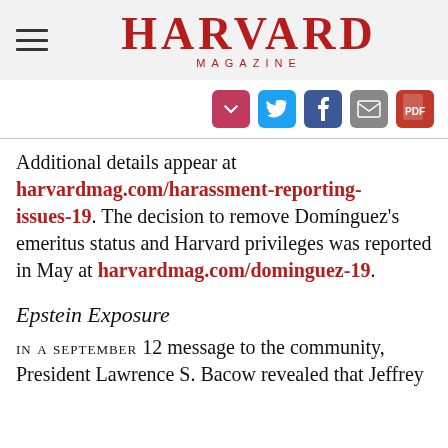HARVARD MAGAZINE
[Figure (other): Social sharing icons: Pocket, Twitter, Facebook, Email, PDF]
Additional details appear at harvardmag.com/harassment-reporting-issues-19. The decision to remove Domínguez's emeritus status and Harvard privileges was reported in May at harvardmag.com/dominguez-19.
Epstein Exposure
IN A SEPTEMBER 12 message to the community, President Lawrence S. Bacow revealed that Jeffrey